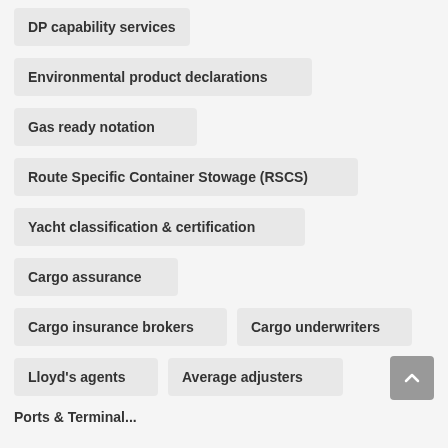DP capability services
Environmental product declarations
Gas ready notation
Route Specific Container Stowage (RSCS)
Yacht classification & certification
Cargo assurance
Cargo insurance brokers
Cargo underwriters
Lloyd's agents
Average adjusters
Ports & Terminal...